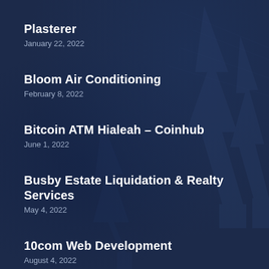Plasterer
January 22, 2022
Bloom Air Conditioning
February 8, 2022
Bitcoin ATM Hialeah – Coinhub
June 1, 2022
Busby Estate Liquidation & Realty Services
May 4, 2022
10com Web Development
August 4, 2022